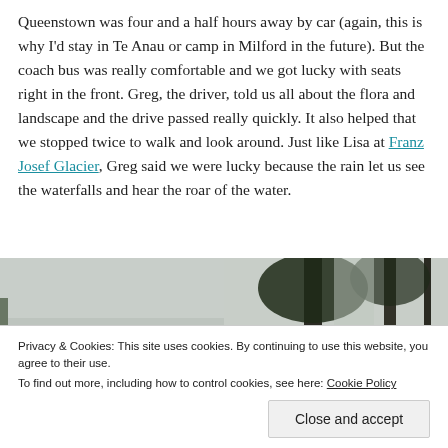Queenstown was four and a half hours away by car (again, this is why I'd stay in Te Anau or camp in Milford in the future). But the coach bus was really comfortable and we got lucky with seats right in the front. Greg, the driver, told us all about the flora and landscape and the drive passed really quickly. It also helped that we stopped twice to walk and look around. Just like Lisa at Franz Josef Glacier, Greg said we were lucky because the rain let us see the waterfalls and hear the roar of the water.
[Figure (photo): Two landscape photos side by side showing misty/rainy New Zealand scenery with trees and water. Left photo shows a misty lake or wetland with trees in fog. Right photo shows dark tree trunks with overcast sky.]
Privacy & Cookies: This site uses cookies. By continuing to use this website, you agree to their use. To find out more, including how to control cookies, see here: Cookie Policy
Close and accept